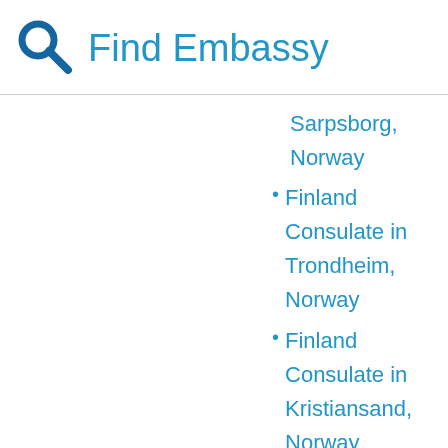Find Embassy
Sarpsborg, Norway
Finland Consulate in Trondheim, Norway
Finland Consulate in Kristiansand, Norway
Finland
[Figure (illustration): Blue upward arrow icon in bottom right corner]